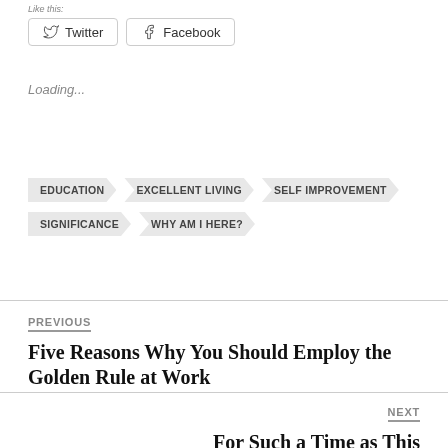Loading...
EDUCATION
EXCELLENT LIVING
SELF IMPROVEMENT
SIGNIFICANCE
WHY AM I HERE?
PREVIOUS
Five Reasons Why You Should Employ the Golden Rule at Work
NEXT
For Such a Time as This